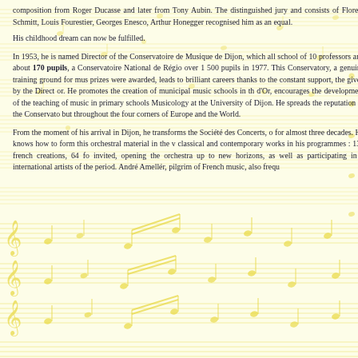composition from Roger Ducasse and later from Tony Aubin. The distinguished jury and consists of Florent Schmitt, Louis Fourestier, Georges Enesco, Arthur Honegger recognised him as an equal.
His childhood dream can now be fulfilled.
In 1953, he is named Director of the Conservatoire de Musique de Dijon, which all school of 10 professors and about 170 pupils, a Conservatoire National de Régio over 1 500 pupils in 1977. This Conservatory, a genuine training ground for mus prizes were awarded, leads to brilliant careers thanks to the constant support, the given by the Direct or. He promotes the creation of municipal music schools in th d'Or, encourages the development of the teaching of music in primary schools Musicology at the University of Dijon. He spreads the reputation of the Conservato but throughout the four corners of Europe and the World.
From the moment of his arrival in Dijon, he transforms the Société des Concerts, o for almost three decades. He knows how to form this orchestral material in the v classical and contemporary works in his programmes : 135 french creations, 64 fo invited, opening the orchestra up to new horizons, as well as participating in c international artists of the period. André Amellér, pilgrim of French music, also frequ
[Figure (illustration): Musical staff lines with golden musical notes, clef symbols scattered decoratively across the lower half of the page as background decoration]